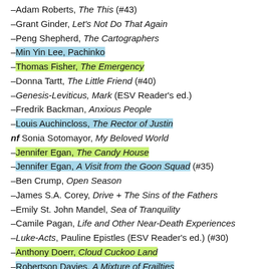– Adam Roberts, The This (#43)
– Grant Ginder, Let's Not Do That Again
– Peng Shepherd, The Cartographers
– Min Yin Lee, Pachinko [highlighted blue]
– Thomas Fisher, The Emergency [highlighted green]
– Donna Tartt, The Little Friend (#40)
– Genesis-Leviticus, Mark (ESV Reader's ed.)
– Fredrik Backman, Anxious People
– Louis Auchincloss, The Rector of Justin [highlighted blue]
nf Sonia Sotomayor, My Beloved World
– Jennifer Egan, The Candy House [highlighted green]
– Jennifer Egan, A Visit from the Goon Squad (#35) [highlighted blue]
– Ben Crump, Open Season
– James S.A. Corey, Drive + The Sins of the Fathers
– Emily St. John Mandel, Sea of Tranquility
– Camile Pagan, Life and Other Near-Death Experiences
– Luke-Acts, Pauline Epistles (ESV Reader's ed.) (#30)
– Anthony Doerr, Cloud Cuckoo Land [highlighted green]
– Robertson Davies, A Mixture of Frailties [highlighted blue]